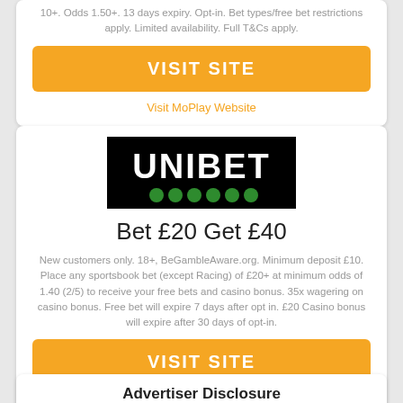10+. Odds 1.50+. 13 days expiry. Opt-in. Bet types/free bet restrictions apply. Limited availability. Full T&Cs apply.
VISIT SITE
Visit MoPlay Website
[Figure (logo): Unibet logo — white text on black background with green dots]
Bet £20 Get £40
New customers only. 18+, BeGambleAware.org. Minimum deposit £10. Place any sportsbook bet (except Racing) of £20+ at minimum odds of 1.40 (2/5) to receive your free bets and casino bonus. 35x wagering on casino bonus. Free bet will expire 7 days after opt in. £20 Casino bonus will expire after 30 days of opt-in.
VISIT SITE
Visit Unibet Website
Advertiser Disclosure
GamblerMo...